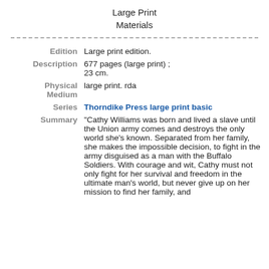Large Print Materials
| Field | Value |
| --- | --- |
| Edition | Large print edition. |
| Description | 677 pages (large print) ; 23 cm. |
| Physical Medium | large print. rda |
| Series | Thorndike Press large print basic |
| Summary | "Cathy Williams was born and lived a slave until the Union army comes and destroys the only world she's known. Separated from her family, she makes the impossible decision, to fight in the army disguised as a man with the Buffalo Soldiers. With courage and wit, Cathy must not only fight for her survival and freedom in the ultimate man's world, but never give up on her mission to find her family, and |